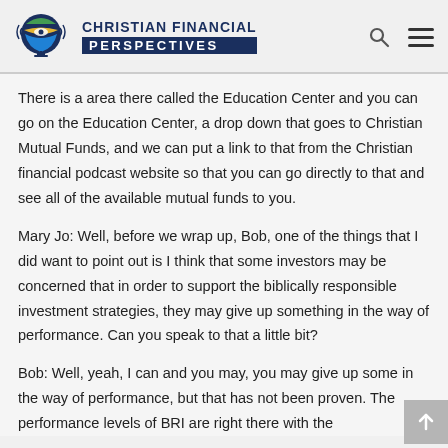[Figure (logo): Christian Financial Perspectives podcast logo with globe/microphone icon and text]
There is a area there called the Education Center and you can go on the Education Center, a drop down that goes to Christian Mutual Funds, and we can put a link to that from the Christian financial podcast website so that you can go directly to that and see all of the available mutual funds to you.
Mary Jo: Well, before we wrap up, Bob, one of the things that I did want to point out is I think that some investors may be concerned that in order to support the biblically responsible investment strategies, they may give up something in the way of performance. Can you speak to that a little bit?
Bob: Well, yeah, I can and you may, you may give up some in the way of performance, but that has not been proven. The performance levels of BRI are right there with the